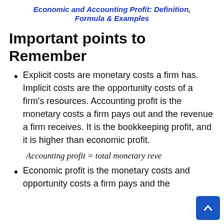Economic and Accounting Profit: Definition, Formula & Examples
Important points to Remember
Explicit costs are monetary costs a firm has. Implicit costs are the opportunity costs of a firm's resources. Accounting profit is the monetary costs a firm pays out and the revenue a firm receives. It is the bookkeeping profit, and it is higher than economic profit.
Economic profit is the monetary costs and opportunity costs a firm pays and the